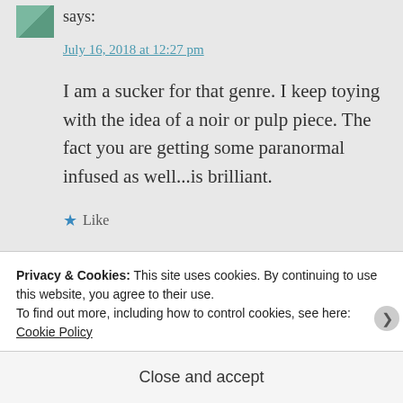says:
July 16, 2018 at 12:27 pm
I am a sucker for that genre. I keep toying with the idea of a noir or pulp piece. The fact you are getting some paranormal infused as well...is brilliant.
★ Like
Privacy & Cookies: This site uses cookies. By continuing to use this website, you agree to their use.
To find out more, including how to control cookies, see here: Cookie Policy
Close and accept